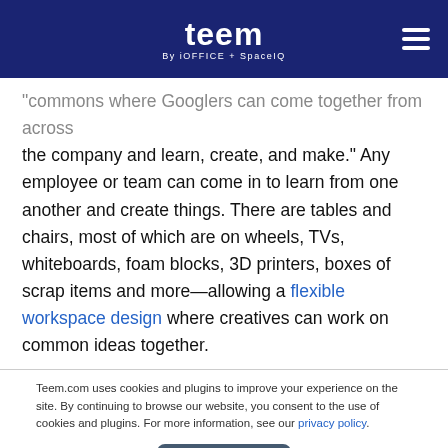teem By iOFFICE + SpaceIQ
“commons where Googlers can come together from across the company and learn, create, and make.” Any employee or team can come in to learn from one another and create things. There are tables and chairs, most of which are on wheels, TVs, whiteboards, foam blocks, 3D printers, boxes of scrap items and more—allowing a flexible workspace design where creatives can work on common ideas together.
Teem.com uses cookies and plugins to improve your experience on the site. By continuing to browse our website, you consent to the use of cookies and plugins. For more information, see our privacy policy.
Okay